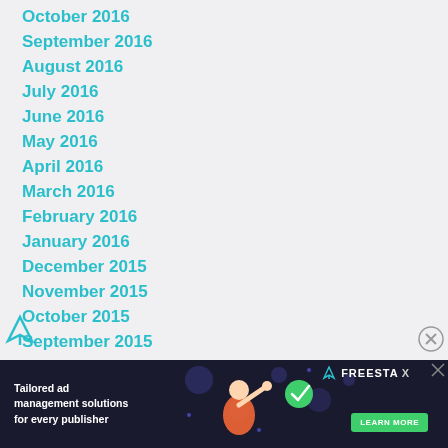October 2016
September 2016
August 2016
July 2016
June 2016
May 2016
April 2016
March 2016
February 2016
January 2016
December 2015
November 2015
October 2015
September 2015
August 2015
July 2...
[Figure (illustration): Freestar ad banner: Tailored ad management solutions for every publisher, with illustrated character and green learn more button]